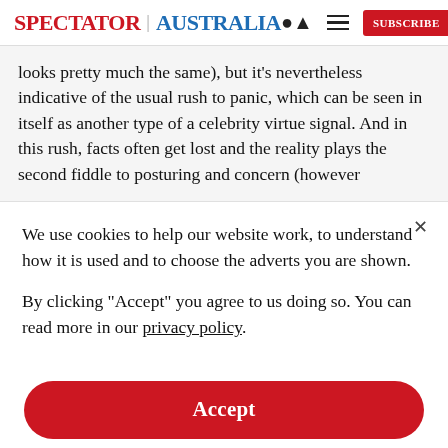SPECTATOR | AUSTRALIA
looks pretty much the same), but it's nevertheless indicative of the usual rush to panic, which can be seen in itself as another type of a celebrity virtue signal. And in this rush, facts often get lost and the reality plays the second fiddle to posturing and concern (however
We use cookies to help our website work, to understand how it is used and to choose the adverts you are shown.
By clicking "Accept" you agree to us doing so. You can read more in our privacy policy.
Accept